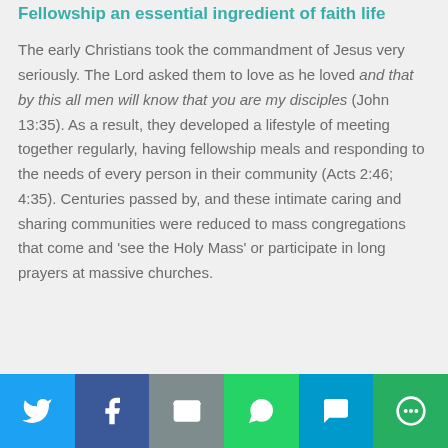Fellowship an essential ingredient of faith life
The early Christians took the commandment of Jesus very seriously. The Lord asked them to love as he loved and that by this all men will know that you are my disciples (John 13:35). As a result, they developed a lifestyle of meeting together regularly, having fellowship meals and responding to the needs of every person in their community (Acts 2:46; 4:35). Centuries passed by, and these intimate caring and sharing communities were reduced to mass congregations that come and ‘see the Holy Mass’ or participate in long prayers at massive churches.
[Figure (infographic): Social sharing bar with Twitter, Facebook, Email, WhatsApp, SMS, and More buttons]